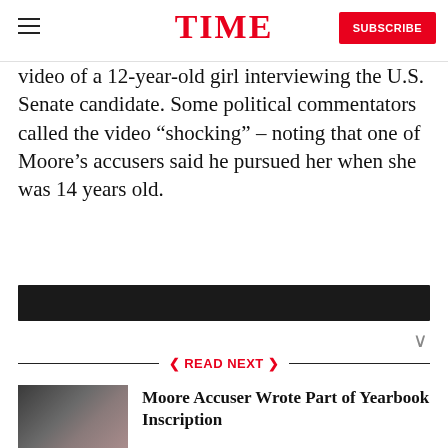TIME — SUBSCRIBE
video of a 12-year-old girl interviewing the U.S. Senate candidate. Some political commentators called the video “shocking” – noting that one of Moore’s accusers said he pursued her when she was 14 years old.
[Figure (photo): Dark image bar (partially visible photo at bottom of article)]
❮ READ NEXT ❯
[Figure (photo): Photo of two women at a press conference with microphones]
Moore Accuser Wrote Part of Yearbook Inscription